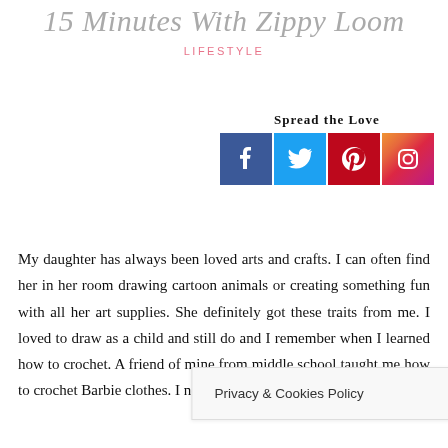15 Minutes With Zippy Loom
LIFESTYLE
[Figure (infographic): Spread the Love social media icons for Facebook, Twitter, Pinterest, and Instagram]
My daughter has always been loved arts and crafts. I can often find her in her room drawing cartoon animals or creating something fun with all her art supplies. She definitely got these traits from me. I loved to draw as a child and still do and I remember when I learned how to crochet. A friend of mine from middle school taught me how to crochet Barbie clothes. I never did learn... I rarely have the... have
Privacy & Cookies Policy